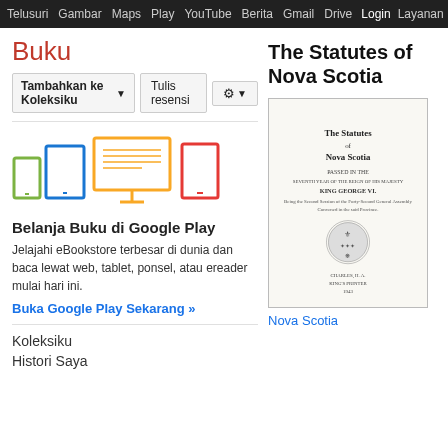Telusuri Gambar Maps Play YouTube Berita Gmail Drive Login Layanan
Buku
Tambahkan ke Koleksiku | Tulis resensi
The Statutes of Nova Scotia
[Figure (illustration): Icons of various devices: phone, tablet, desktop monitor, e-reader for Google Play Books promotion]
Belanja Buku di Google Play
Jelajahi eBookstore terbesar di dunia dan baca lewat web, tablet, ponsel, atau ereader mulai hari ini.
Buka Google Play Sekarang »
[Figure (illustration): Book cover of The Statutes of Nova Scotia showing title page with ornamental crest]
Koleksiku
Histori Saya
Nova Scotia